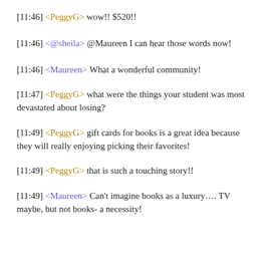[11:46] <PeggyG> wow!! $520!!
[11:46] <@sheila> @Maureen I can hear those words now!
[11:46] <Maureen> What a wonderful community!
[11:47] <PeggyG> what were the things your student was most devastated about losing?
[11:49] <PeggyG> gift cards for books is a great idea because they will really enjoying picking their favorites!
[11:49] <PeggyG> that is such a touching story!!
[11:49] <Maureen> Can't imagine books as a luxury…. TV maybe, but not books- a necessity!